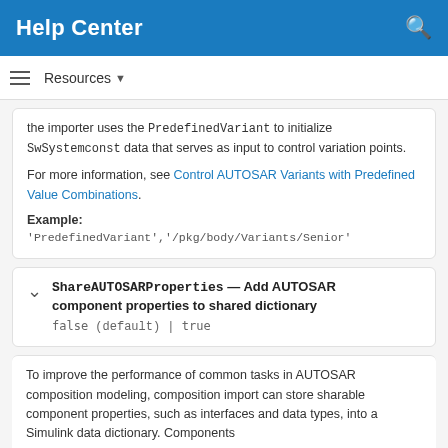Help Center
Resources
the importer uses the PredefinedVariant to initialize SwSystemconst data that serves as input to control variation points.

For more information, see Control AUTOSAR Variants with Predefined Value Combinations.

Example:
'PredefinedVariant','/pkg/body/Variants/Senior'
ShareAUTOSARProperties — Add AUTOSAR component properties to shared dictionary
false (default) | true
To improve the performance of common tasks in AUTOSAR composition modeling, composition import can store sharable component properties, such as interfaces and data types, into a Simulink data dictionary. Components